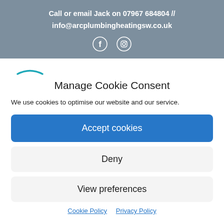Call or email Jack on 07967 684804 // info@arcplumbingheatingsw.co.uk
[Figure (illustration): Small teal arc/wave decorative icon]
Manage Cookie Consent
We use cookies to optimise our website and our service.
Accept cookies
Deny
View preferences
Cookie Policy  Privacy Policy